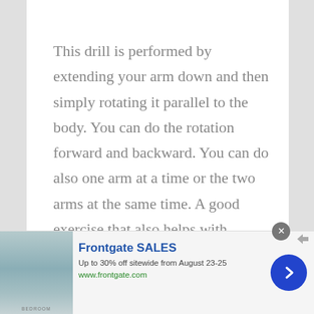This drill is performed by extending your arm down and then simply rotating it parallel to the body. You can do the rotation forward and backward. You can do also one arm at a time or the two arms at the same time. A good exercise that also helps with coordination is to do it with both arms at the same time, but one rotating forward and the other one rotating backward. For an example of an arm
[Figure (other): Advertisement banner for Frontgate SALES showing bedroom furniture image on the left, text 'Frontgate SALES Up to 30% off sitewide from August 23-25 www.frontgate.com' in the center, a close button (X) at the top, and a blue arrow button on the right.]